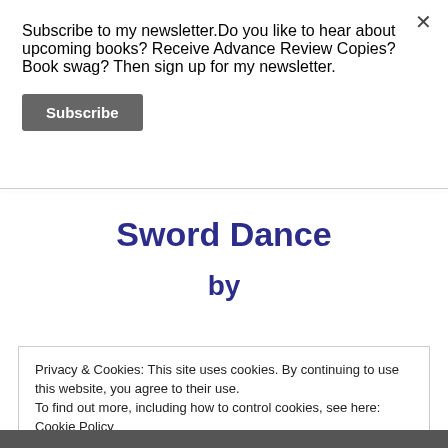Subscribe to my newsletter.Do you like to hear about upcoming books? Receive Advance Review Copies? Book swag? Then sign up for my newsletter.
[Figure (other): Close button (×) in top-right corner]
[Figure (other): Subscribe button (dark grey rounded rectangle)]
Sword Dance
by
Privacy & Cookies: This site uses cookies. By continuing to use this website, you agree to their use.
To find out more, including how to control cookies, see here: Cookie Policy
[Figure (other): Close and accept button]